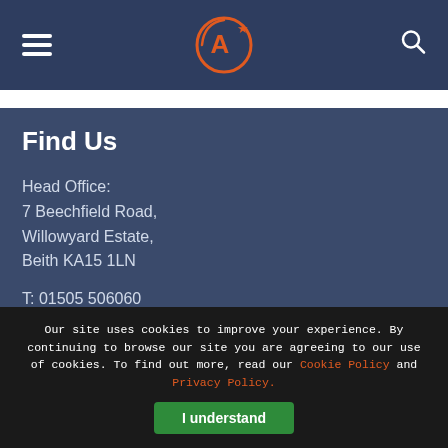Navigation header with hamburger menu, logo (A* in circle), and search icon
Find Us
Head Office:
7 Beechfield Road,
Willowyard Estate,
Beith KA15 1LN
T: 01505 506060
London Office:
Our site uses cookies to improve your experience. By continuing to browse our site you are agreeing to our use of cookies. To find out more, read our Cookie Policy and Privacy Policy.
I understand